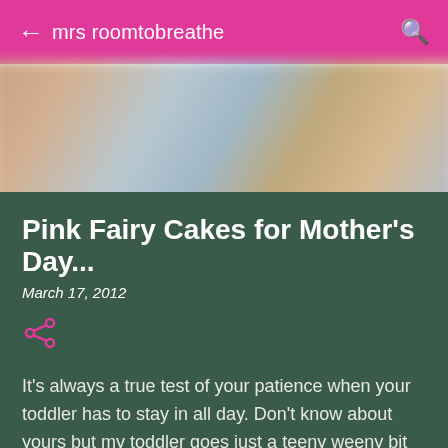mrs roomtobreathe
[Figure (photo): Blurred background photo, likely of a child or food scene, muted warm and cool tones]
Pink Fairy Cakes for Mother's Day...
March 17, 2012
It's always a true test of your patience when your toddler has to stay in all day. Don't know about yours but my toddler goes just a teeny weeny bit stir crazy. Trying to come up with constant entertainment, when actually putting 'Cbeebies'